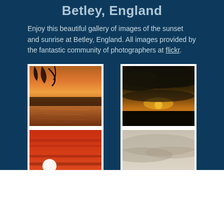Betley, England
Enjoy this beautiful gallery of images of the sunset and sunrise at Betley, England. All images provided by the fantastic community of photographers at flickr.
[Figure (photo): Sunset over water with silhouetted tree branches in foreground, golden sky reflected in water]
[Figure (photo): Dramatic sunset with dark clouds and golden sun rays breaking through, dark horizon]
[Figure (photo): Bold red/orange sunset with white sun disc and horizontal cloud bands]
[Figure (photo): Pale misty sunrise or sunset with grey clouds and flat landscape below]